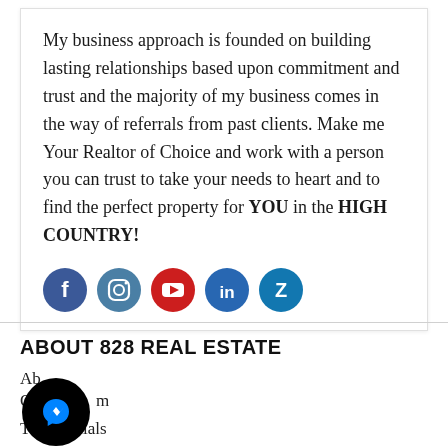My business approach is founded on building lasting relationships based upon commitment and trust and the majority of my business comes in the way of referrals from past clients. Make me Your Realtor of Choice and work with a person you can trust to take your needs to heart and to find the perfect property for YOU in the HIGH COUNTRY!
[Figure (infographic): Five social media icon circles: Facebook (blue), Instagram (teal/blue), YouTube (red), LinkedIn (blue), Zillow (blue with Z logo)]
ABOUT 828 REAL ESTATE
Ab
Ou m
[Figure (illustration): Facebook Messenger chat bubble icon — black circle with white lightning bolt/messenger logo]
Testimonials